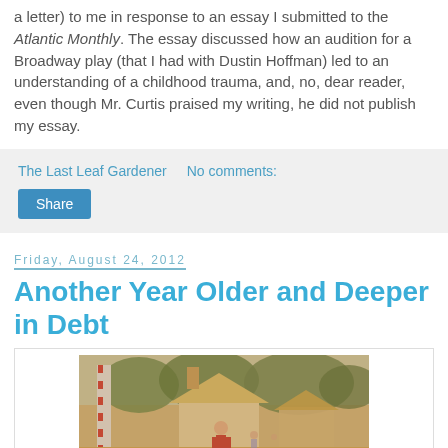a letter) to me in response to an essay I submitted to the Atlantic Monthly. The essay discussed how an audition for a Broadway play (that I had with Dustin Hoffman) led to an understanding of a childhood trauma, and, no, dear reader, even though Mr. Curtis praised my writing, he did not publish my essay.
The Last Leaf Gardener    No comments:
Share
Friday, August 24, 2012
Another Year Older and Deeper in Debt
[Figure (photo): Vintage/retro photograph of what appears to be an outdoor amusement park or fairground scene with a child in the foreground, colorful buildings and trees in the background, with warm sepia/orange tones.]